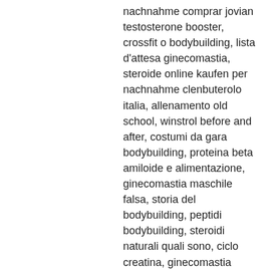nachnahme comprar jovian testosterone booster, crossfit o bodybuilding, lista d'attesa ginecomastia, steroide online kaufen per nachnahme clenbuterolo italia, allenamento old school, winstrol before and after, costumi da gara bodybuilding, proteina beta amiloide e alimentazione, ginecomastia maschile falsa, storia del bodybuilding, peptidi bodybuilding, steroidi naturali quali sono, ciclo creatina, ginecomastia falsa come riconoscerla, quanti grammi di creatina al giorno.
Steroidi popolari:
Tren Acetate 100mg per 1ml
Tren Tabs 1 mg (50 tabs)
Anavar 10mg Dragon Pharma Para Pharma
Alphabolin 100mg/ml x 5 amps Sun Pharma
Primo Tabs 25 mg (50 tabs)
1-Test Cyp 200